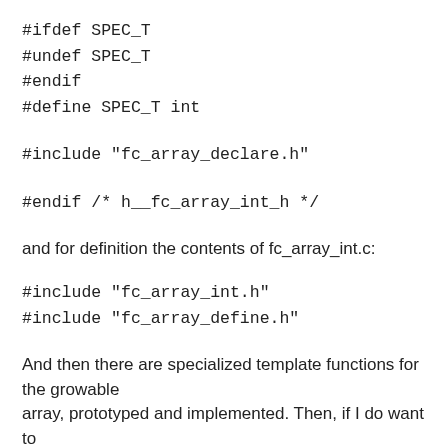#ifdef SPEC_T
#undef SPEC_T
#endif
#define SPEC_T int
#include "fc_array_declare.h"
#endif /* h__fc_array_int_h */
and for definition the contents of fc_array_int.c:
#include "fc_array_int.h"
#include "fc_array_define.h"
And then there are specialized template functions for the growable
array, prototyped and implemented. Then, if I do want to